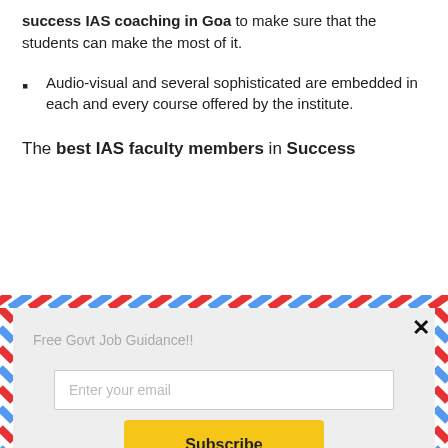success IAS coaching in Goa to make sure that the students can make the most of it.
Audio-visual and several sophisticated are embedded in each and every course offered by the institute.
The best IAS faculty members in Success
[Figure (screenshot): Email subscription popup with airmail border pattern, title 'Free Govt Job Guidance!!', email input field, Subscribe button, and 'powered by MailMunch' footer.]